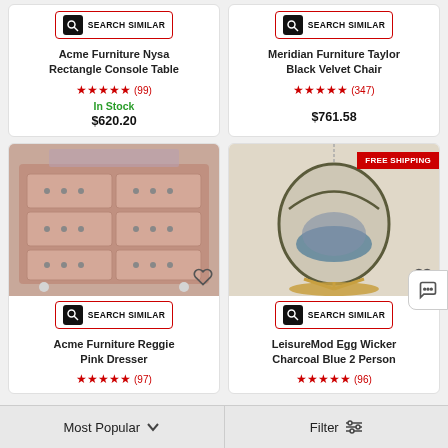[Figure (screenshot): Search Similar button for first product card (top left)]
Acme Furniture Nysa Rectangle Console Table
★★★★★ (99)
In Stock
$620.20
[Figure (screenshot): Search Similar button for second product card (top right)]
Meridian Furniture Taylor Black Velvet Chair
★★★★★ (347)
$761.58
[Figure (photo): Product image of Acme Furniture Reggie Pink Dresser — a pink tufted dresser with multiple drawers]
[Figure (screenshot): Search Similar button for third product card (bottom left)]
Acme Furniture Reggie Pink Dresser
★★★★★ (97)
[Figure (photo): Product image of LeisureMod Egg Wicker Charcoal Blue 2 Person swing chair with golden stand]
[Figure (screenshot): Search Similar button for fourth product card (bottom right)]
LeisureMod Egg Wicker Charcoal Blue 2 Person
★★★★★ (96)
Most Popular   Filter